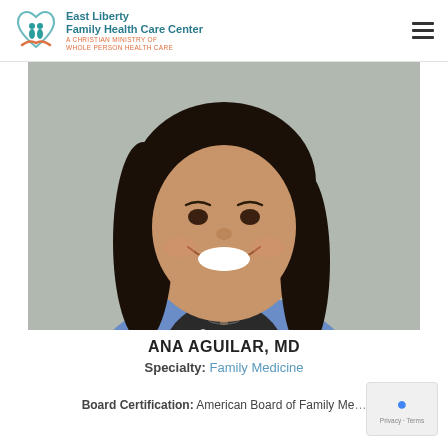East Liberty Family Health Care Center — A CHRISTIAN MINISTRY OF WHOLE PERSON HEALTH CARE
[Figure (photo): Smiling woman with long dark hair wearing a blue cardigan over a black and white patterned blouse with a small pendant necklace, professional headshot photo against a neutral background.]
ANA AGUILAR, MD
Specialty: Family Medicine
Board Certification: American Board of Family Medicine